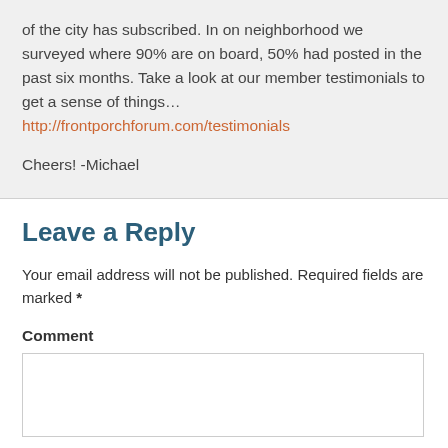of the city has subscribed. In on neighborhood we surveyed where 90% are on board, 50% had posted in the past six months. Take a look at our member testimonials to get a sense of things… http://frontporchforum.com/testimonials
Cheers! -Michael
Leave a Reply
Your email address will not be published. Required fields are marked *
Comment